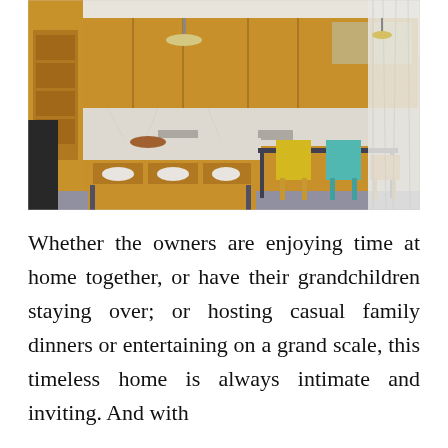[Figure (photo): Interior photo of a modern open-plan kitchen with warm wood cabinetry, marble backsplash and island countertop, open lower shelving with white bowls and pitchers, and a dining area with colorful yellow and teal chairs around a dark metal-framed table. Sheer white curtains on the right.]
Whether the owners are enjoying time at home together, or have their grandchildren staying over; or hosting casual family dinners or entertaining on a grand scale, this timeless home is always intimate and inviting. And with